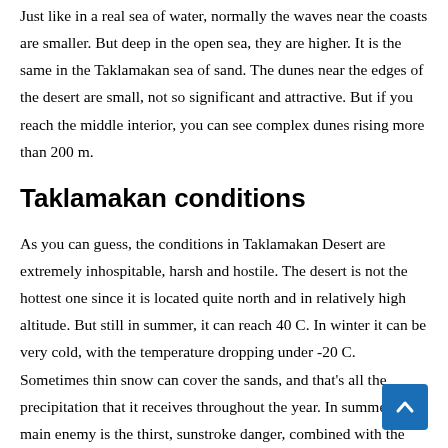Just like in a real sea of water, normally the waves near the coasts are smaller. But deep in the open sea, they are higher. It is the same in the Taklamakan sea of sand. The dunes near the edges of the desert are small, not so significant and attractive. But if you reach the middle interior, you can see complex dunes rising more than 200 m.
Taklamakan conditions
As you can guess, the conditions in Taklamakan Desert are extremely inhospitable, harsh and hostile. The desert is not the hottest one since it is located quite north and in relatively high altitude. But still in summer, it can reach 40 C. In winter it can be very cold, with the temperature dropping under -20 C. Sometimes thin snow can cover the sands, and that's all the precipitation that it receives throughout the year. In summer, your main enemy is the thirst, sunstroke danger, combined with the difficult walking on sands. In winter it can be the freezing cold (which is better, so moisture is better company to the hikers than the...